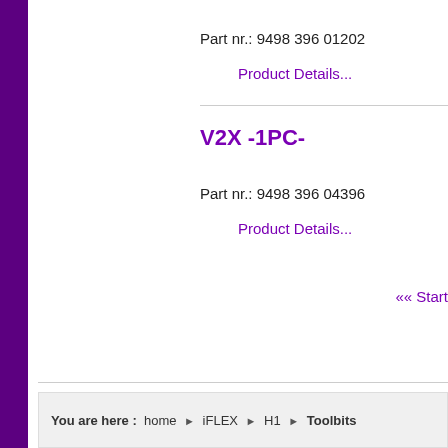Part nr.: 9498 396 01202
Product Details...
V2X -1PC-
Part nr.: 9498 396 04396
Product Details...
««  Start
You are here  :  home  ▶  iFLEX  ▶  H1  ▶  Toolbits